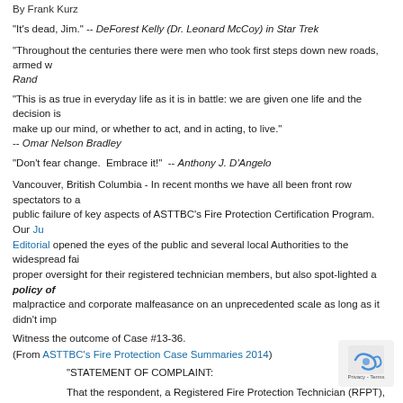By Frank Kurz
“It’s dead, Jim.” -- DeForest Kelly (Dr. Leonard McCoy) in Star Trek
“Throughout the centuries there were men who took first steps down new roads, armed w… -- Rand
“This is as true in everyday life as it is in battle: we are given one life and the decision is… make up our mind, or whether to act, and in acting, to live.” -- Omar Nelson Bradley
“Don’t fear change. Embrace it!” -- Anthony J. D’Angelo
Vancouver, British Columbia - In recent months we have all been front row spectators to a public failure of key aspects of ASTTBC’s Fire Protection Certification Program. Our July Editorial opened the eyes of the public and several local Authorities to the widespread failure of proper oversight for their registered technician members, but also spot-lighted a policy of malpractice and corporate malfeasance on an unprecedented scale as long as it didn’t imp…
Witness the outcome of Case #13-36.
(From ASTTBC’s Fire Protection Case Summaries 2014)
“STATEMENT OF COMPLAINT:
That the respondent, a Registered Fire Protection Technician (RFPT), as Branch Manager of business, provided an “authorised (sic) signature” on a Certificate of Verification for work performed by an employee and approved the issue of Appendix “C” documentation for installation.